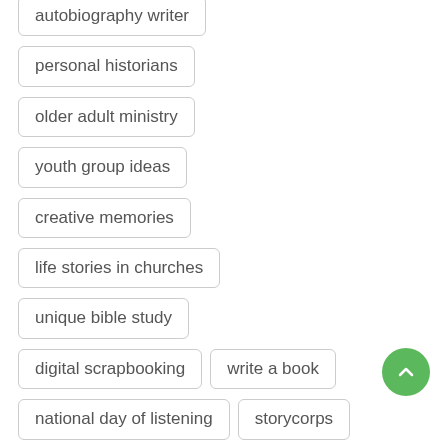autobiography writer
personal historians
older adult ministry
youth group ideas
creative memories
life stories in churches
unique bible study
digital scrapbooking
write a book
national day of listening
storycorps
eid
Hanukkah
memorable gifts